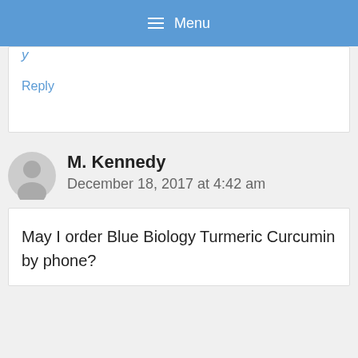Menu
Reply
M. Kennedy
December 18, 2017 at 4:42 am
May I order Blue Biology Turmeric Curcumin by phone?